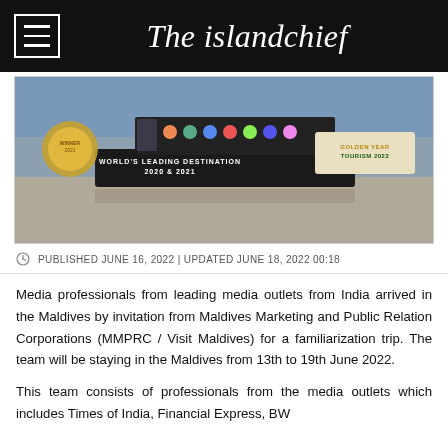The islandchief
[Figure (photo): Photo of Maldives signage showing 'World's Leading Destination 2020 & 2021' plaque and 'Golden Year of Tourism 2022' sign, with a World Travel Awards winner medallion visible on the left.]
PUBLISHED JUNE 16, 2022 | UPDATED JUNE 18, 2022 00:18
Media professionals from leading media outlets from India arrived in the Maldives by invitation from Maldives Marketing and Public Relation Corporations (MMPRC / Visit Maldives) for a familiarization trip. The team will be staying in the Maldives from 13th to 19th June 2022.
This team consists of professionals from the media outlets which includes Times of India, Financial Express, BW